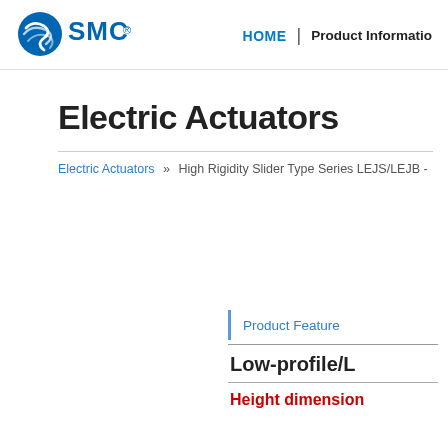[Figure (logo): SMC corporation logo with blue swirl icon and SMC text with registered trademark symbol]
HOME | Product Information
Electric Actuators
Electric Actuators » High Rigidity Slider Type Series LEJS/LEJB -
Product Feature
Low-profile/L
Height dimension